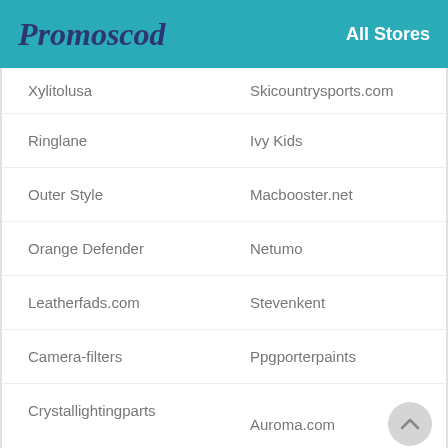Promoscod | All Stores
Xylitolusa
Skicountrysports.com
Ringlane
Ivy Kids
Outer Style
Macbooster.net
Orange Defender
Netumo
Leatherfads.com
Stevenkent
Camera-filters
Ppgporterpaints
Crystallightingparts
Auroma.com
Personal Capital
Affodable Supplements